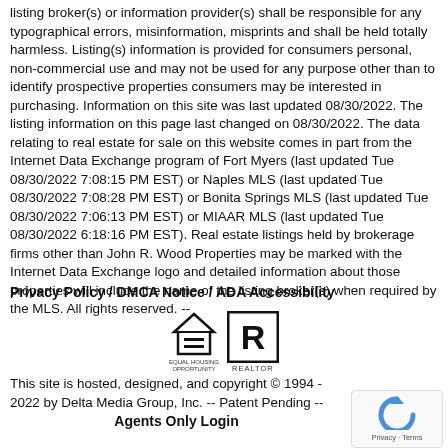listing broker(s) or information provider(s) shall be responsible for any typographical errors, misinformation, misprints and shall be held totally harmless. Listing(s) information is provided for consumers personal, non-commercial use and may not be used for any purpose other than to identify prospective properties consumers may be interested in purchasing. Information on this site was last updated 08/30/2022. The listing information on this page last changed on 08/30/2022. The data relating to real estate for sale on this website comes in part from the Internet Data Exchange program of Fort Myers (last updated Tue 08/30/2022 7:08:15 PM EST) or Naples MLS (last updated Tue 08/30/2022 7:08:28 PM EST) or Bonita Springs MLS (last updated Tue 08/30/2022 7:06:13 PM EST) or MIAAR MLS (last updated Tue 08/30/2022 6:18:16 PM EST). Real estate listings held by brokerage firms other than John R. Wood Properties may be marked with the Internet Data Exchange logo and detailed information about those properties will include the name of the listing broker(s) when required by the MLS. All rights reserved. --
Privacy Policy / DMCA Notice / ADA Accessibility
[Figure (logo): Equal Housing Opportunity logo and REALTOR logo]
This site is hosted, designed, and copyright © 1994 - 2022 by Delta Media Group, Inc. -- Patent Pending --
Agents Only Login
[Figure (other): reCAPTCHA widget with Privacy and Terms links]